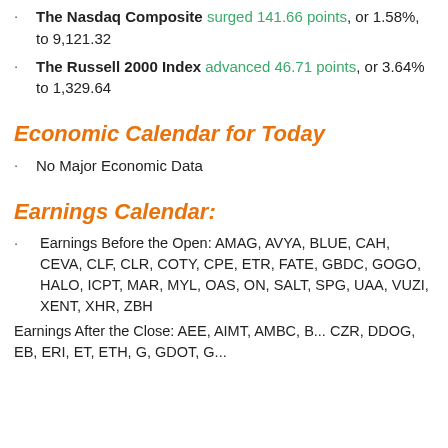The Nasdaq Composite surged 141.66 points, or 1.58%, to 9,121.32
The Russell 2000 Index advanced 46.71 points, or 3.64% to 1,329.64
Economic Calendar for Today
No Major Economic Data
Earnings Calendar:
Earnings Before the Open: AMAG, AVYA, BLUE, CAH, CEVA, CLF, CLR, COTY, CPE, ETR, FATE, GBDC, GOGO, HALO, ICPT, MAR, MYL, OAS, ON, SALT, SPG, UAA, VUZI, XENT, XHR, ZBH
Earnings After the Close: AEE, AIMT, AMBC, B... CZR, DDOG, EB, ERI, ET, ETH, G, GDOT, G...